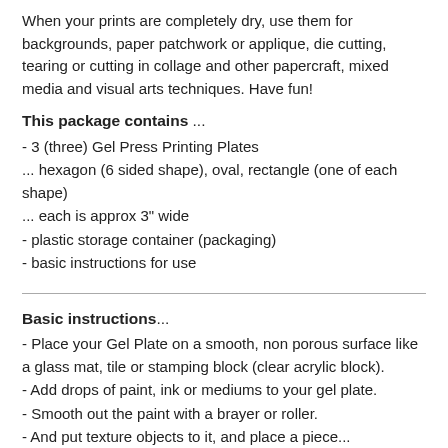When your prints are completely dry, use them for backgrounds, paper patchwork or applique, die cutting, tearing or cutting in collage and other papercraft, mixed media and visual arts techniques. Have fun!
This package contains ...
- 3 (three) Gel Press Printing Plates
... hexagon (6 sided shape), oval, rectangle (one of each shape)
... each is approx 3" wide
- plastic storage container (packaging)
- basic instructions for use
Basic instructions...
- Place your Gel Plate on a smooth, non porous surface like a glass mat, tile or stamping block (clear acrylic block).
- Add drops of paint, ink or mediums to your gel plate.
- Smooth out the paint with a brayer or roller.
- And put texture objects to it, and place a piece...